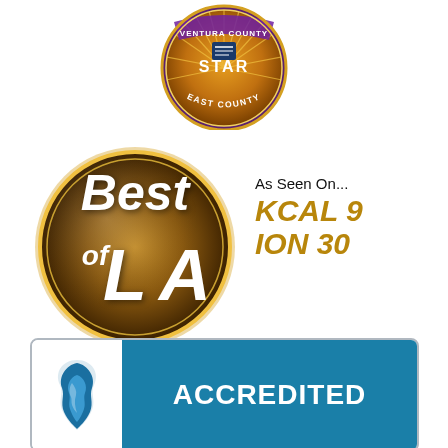[Figure (logo): Ventura County Star East County circular badge/seal with sunburst design, purple and orange colors]
[Figure (logo): Best of LA golden circular logo with 3D text 'Best of LA' in brown/gold tones]
As Seen On... KCAL 9 ION 30
[Figure (logo): Better Business Bureau (BBB) Accredited Business logo with blue flame/torch icon and teal background with ACCREDITED text]